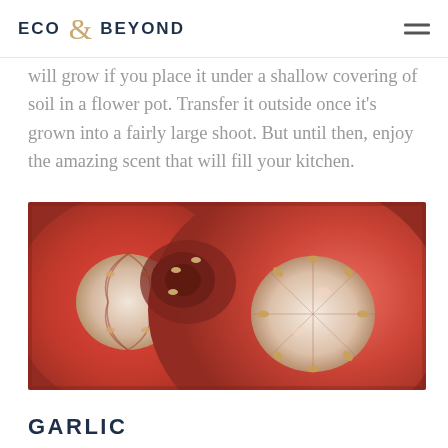ECO & BEYOND
will grow if you place it under a shallow covering of soil in a flower pot. Transfer it outside once it's grown into a fairly large shoot. But until then, enjoy the amazing scent that will fill your kitchen.
[Figure (photo): Close-up macro photograph of sliced tomatoes showing seeds and inner flesh in red tones]
GARLIC